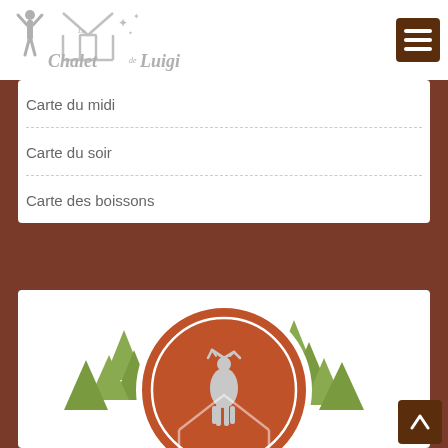[Figure (logo): Le Chalet de Luigi logo with deer/hunter silhouette and chalet outline in gray]
Carte du midi
Carte du soir
Carte des boissons
[Figure (logo): Le Chalet de Luigi circular round logo with deer silhouette and hunter, red/brown background with green pine trees]